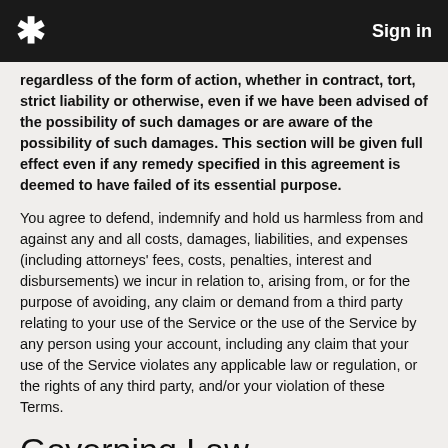* Sign in
regardless of the form of action, whether in contract, tort, strict liability or otherwise, even if we have been advised of the possibility of such damages or are aware of the possibility of such damages. This section will be given full effect even if any remedy specified in this agreement is deemed to have failed of its essential purpose.
You agree to defend, indemnify and hold us harmless from and against any and all costs, damages, liabilities, and expenses (including attorneys' fees, costs, penalties, interest and disbursements) we incur in relation to, arising from, or for the purpose of avoiding, any claim or demand from a third party relating to your use of the Service or the use of the Service by any person using your account, including any claim that your use of the Service violates any applicable law or regulation, or the rights of any third party, and/or your violation of these Terms.
Governing Law
The validity of these Terms and the rights, obligations, and relations of the parties under these Terms will be construed and determined under and in accordance with the laws of Deutschland (Germany).